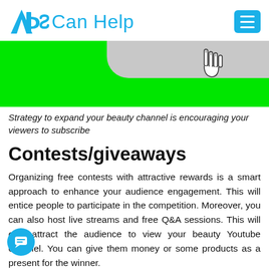Ads Can Help
[Figure (screenshot): Green banner image with a cursor/hand icon and a grey rounded rectangle in the top right area]
Strategy to expand your beauty channel is encouraging your viewers to subscribe
Contests/giveaways
Organizing free contests with attractive rewards is a smart approach to enhance your audience engagement. This will entice people to participate in the competition. Moreover, you can also host live streams and free Q&A sessions. This will only attract the audience to view your beauty Youtube channel. You can give them money or some products as a present for the winner.